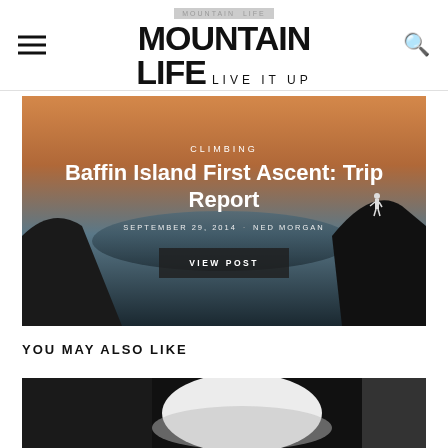MOUNTAIN LIFE — LIVE IT UP
[Figure (photo): Hero image of Baffin Island mountain landscape at sunset with a person standing on a cliff edge]
Baffin Island First Ascent: Trip Report
CLIMBING · SEPTEMBER 29, 2014 · NED MORGAN · VIEW POST
YOU MAY ALSO LIKE
[Figure (photo): Partial image of outdoor gear/helmet at bottom of page]